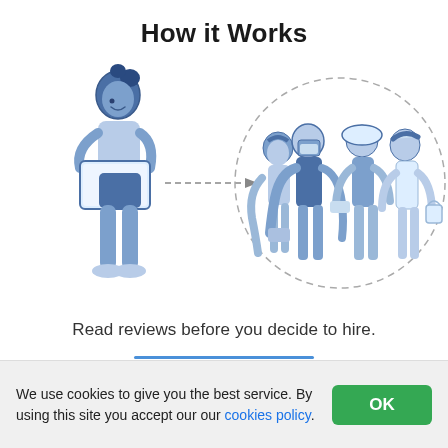How it Works
[Figure (illustration): Illustration of a woman holding a tablet on the left, with a dashed arrow pointing right toward a circle containing four workers/contractors (a cleaner, a welder, a construction worker in hardhat, and a painter) in blue tones.]
Read reviews before you decide to hire.
We use cookies to give you the best service. By using this site you accept our our cookies policy.